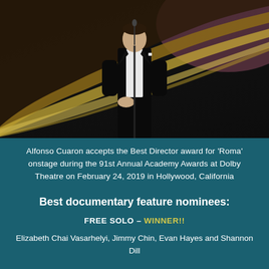[Figure (photo): A man in a black tuxedo with bow tie stands at a microphone on a dark stage with gold curved decorative lines in the background, accepting an award at the 91st Annual Academy Awards.]
Alfonso Cuaron accepts the Best Director award for 'Roma' onstage during the 91st Annual Academy Awards at Dolby Theatre on February 24, 2019 in Hollywood, California
Best documentary feature nominees:
FREE SOLO - WINNER!!
Elizabeth Chai Vasarhelyi, Jimmy Chin, Evan Hayes and Shannon Dill